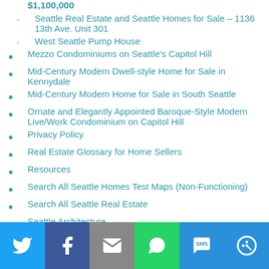$1,100,000 (truncated at top)
Seattle Real Estate and Seattle Homes for Sale – 1136 13th Ave. Unit 301
West Seattle Pump House
Mezzo Condominiums on Seattle's Capitol Hill
Mid-Century Modern Dwell-style Home for Sale in Kennydale
Mid-Century Modern Home for Sale in South Seattle
Ornate and Elegantly Appointed Baroque-Style Modern Live/Work Condominium on Capitol Hill
Privacy Policy
Real Estate Glossary for Home Sellers
Resources
Search All Seattle Homes Test Maps (Non-Functioning)
Search All Seattle Real Estate
Seattle Architecture
Seattle Architectural Styles
[Figure (infographic): Social share footer bar with Twitter, Facebook, Email, WhatsApp, SMS, and More buttons]